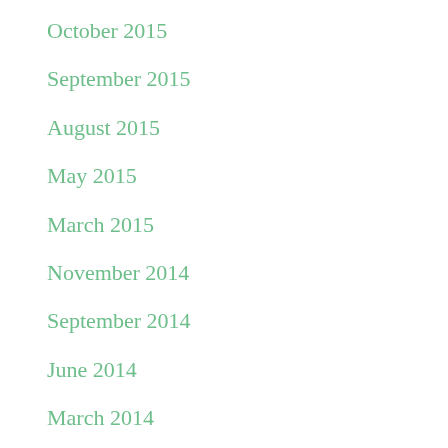October 2015
September 2015
August 2015
May 2015
March 2015
November 2014
September 2014
June 2014
March 2014
September 2013
July 2013
May 2013
October 2012